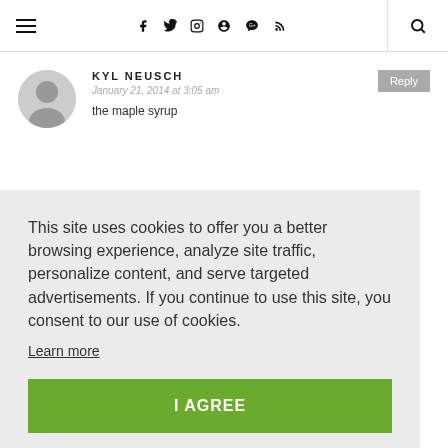≡  f  🐦  📷  P  G+  RSS  🔍
KYL NEUSCH
January 21, 2014 at 3:05 am
the maple syrup
This site uses cookies to offer you a better browsing experience, analyze site traffic, personalize content, and serve targeted advertisements. If you continue to use this site, you consent to our use of cookies.
Learn more
I AGREE